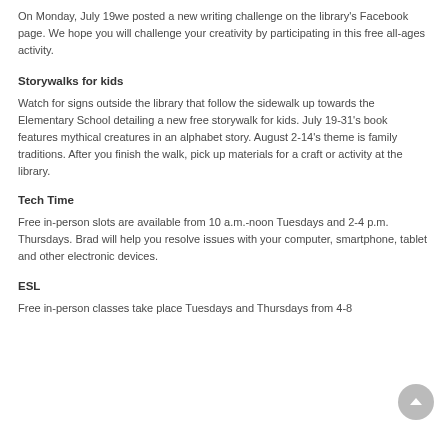On Monday, July 19we posted a new writing challenge on the library's Facebook page.  We hope you will challenge your creativity by participating in this free all-ages activity.
Storywalks for kids
Watch for signs outside the library that follow the sidewalk up towards the Elementary School detailing a new free storywalk for kids.  July 19-31's book features mythical creatures in an alphabet story.  August 2-14's theme is family traditions.  After you finish the walk, pick up materials for a craft or activity at the library.
Tech Time
Free in-person slots are available from 10 a.m.-noon Tuesdays and 2-4 p.m. Thursdays.   Brad will help you resolve issues with your computer, smartphone, tablet and other electronic devices.
ESL
Free in-person classes take place Tuesdays and Thursdays from 4-8